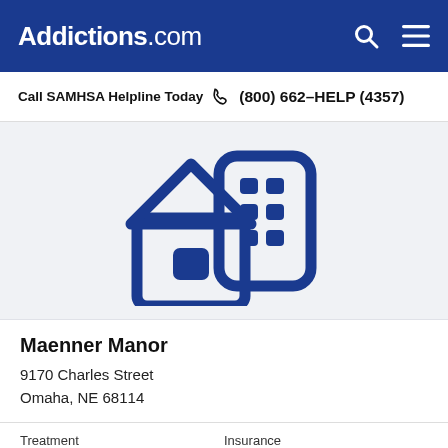Addictions.com
Call SAMHSA Helpline Today  (800) 662-HELP (4357)
[Figure (illustration): Icon of a house and office building in dark blue, representing a residential/inpatient treatment facility.]
Maenner Manor
9170 Charles Street
Omaha, NE 68114
Treatment
Inpatient
Insurance
N/A